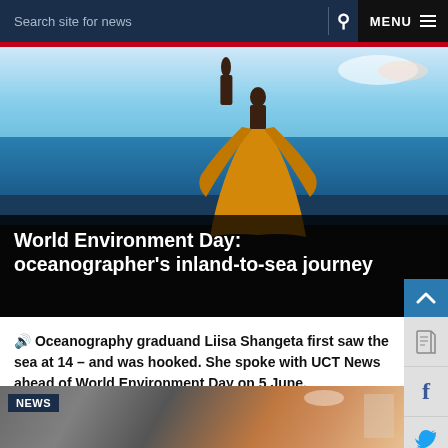Search site for news   MENU
[Figure (photo): Person in yellow/orange dress standing near ocean beach, viewed from behind]
World Environment Day: oceanographer's inland-to-sea journey
🔊 Oceanography graduand Liisa Shangeta first saw the sea at 14 – and was hooked. She spoke with UCT News ahead of World Environment Day on 5 June.
04 JUN 2021 - 10 min read
[Figure (photo): NEWS badge overlay on photo showing mountain rock formation with building visible in background]